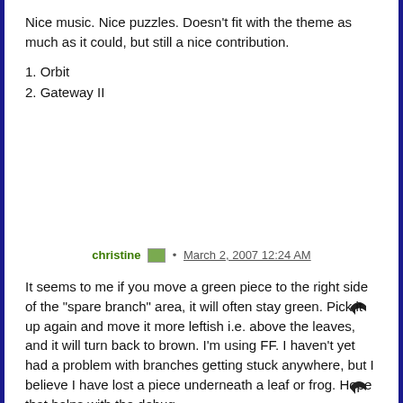Nice music. Nice puzzles. Doesn't fit with the theme as much as it could, but still a nice contribution.
1. Orbit
2. Gateway II
christine • March 2, 2007 12:24 AM
It seems to me if you move a green piece to the right side of the "spare branch" area, it will often stay green. Pick it up again and move it more leftish i.e. above the leaves, and it will turn back to brown. I'm using FF. I haven't yet had a problem with branches getting stuck anywhere, but I believe I have lost a piece underneath a leaf or frog. Hope that helps with the debug.